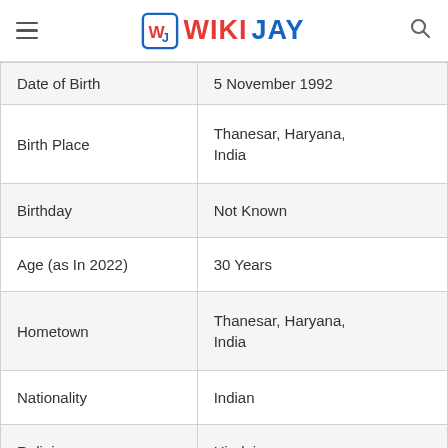WIKIJAY
| Field | Value |
| --- | --- |
| Date of Birth | 5 November 1992 |
| Birth Place | Thanesar, Haryana, India |
| Birthday | Not Known |
| Age (as In 2022) | 30 Years |
| Hometown | Thanesar, Haryana, India |
| Nationality | Indian |
| Religion | Hinduism |